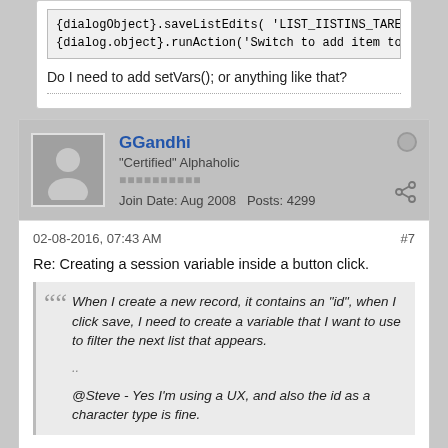{dialogObject}.saveListEdits( 'LIST_IISITING_TAREM' );
{dialog.object}.runAction('Switch to add item to repo
Do I need to add setVars(); or anything like that?
GGandhi
"Certified" Alphaholic
Join Date: Aug 2008   Posts: 4299
02-08-2016, 07:43 AM
#7
Re: Creating a session variable inside a button click.
When I create a new record, it contains an "id", when I click save, I need to create a variable that I want to use to filter the next list that appears.
..
@Steve - Yes I'm using a UX, and also the id as a character type is fine.
so you are using dialog/ux to insert the new record. you should be then using the afterDialogvalidate event to savedataToFile(s) actionscripting.